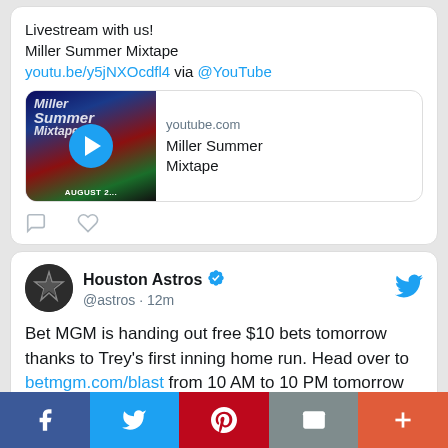Livestream with us!
Miller Summer Mixtape
youtu.be/y5jNXOcdfl4 via @YouTube
[Figure (screenshot): YouTube link preview card showing Miller Summer Mixtape thumbnail with play button, domain youtube.com, title Miller Summer Mixtape]
[Figure (screenshot): Houston Astros tweet: profile with avatar, verified badge, @astros handle, 12m ago, Twitter bird icon]
Bet MGM is handing out free $10 bets tomorrow thanks to Trey's first inning home run. Head over to betmgm.com/blast from 10 AM to 10 PM tomorrow and you'll get a free bet!
[Figure (screenshot): Social share bar with Facebook, Twitter, Pinterest, Email, and More buttons]